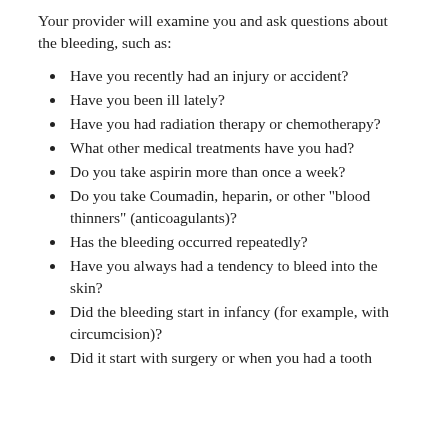Your provider will examine you and ask questions about the bleeding, such as:
Have you recently had an injury or accident?
Have you been ill lately?
Have you had radiation therapy or chemotherapy?
What other medical treatments have you had?
Do you take aspirin more than once a week?
Do you take Coumadin, heparin, or other "blood thinners" (anticoagulants)?
Has the bleeding occurred repeatedly?
Have you always had a tendency to bleed into the skin?
Did the bleeding start in infancy (for example, with circumcision)?
Did it start with surgery or when you had a tooth